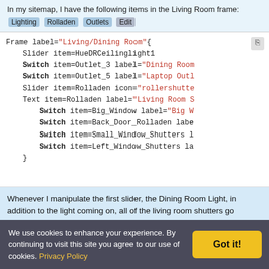In my sitemap, I have the following items in the Living Room frame: [highlighted items]
[Figure (screenshot): Code block showing OpenHAB sitemap configuration for Living Room/Dining Room frame with Slider and Switch items, partially cut off on the right]
Whenever I manipulate the first slider, the Dining Room Light, in addition to the light coming on, all of the living room shutters go
We use cookies to enhance your experience. By continuing to visit this site you agree to our use of cookies. Privacy Policy  Got it!